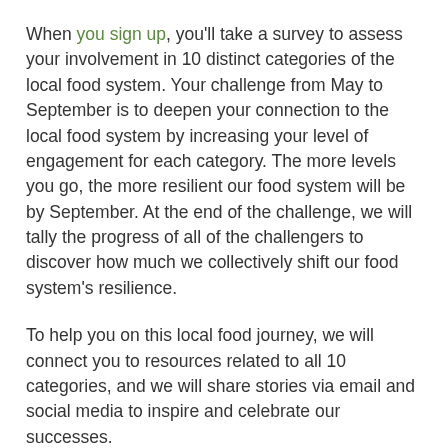When you sign up, you'll take a survey to assess your involvement in 10 distinct categories of the local food system. Your challenge from May to September is to deepen your connection to the local food system by increasing your level of engagement for each category. The more levels you go, the more resilient our food system will be by September. At the end of the challenge, we will tally the progress of all of the challengers to discover how much we collectively shift our food system's resilience.
To help you on this local food journey, we will connect you to resources related to all 10 categories, and we will share stories via email and social media to inspire and celebrate our successes.
The Local Foods Challenge is about building a community of Southeast Alaskans who care about local foods. We will share knowledge, resources, place-based advice, and best practices across our unique region.